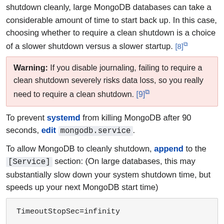shutdown cleanly, large MongoDB databases can take a considerable amount of time to start back up. In this case, choosing whether to require a clean shutdown is a choice of a slower shutdown versus a slower startup. [8]
Warning: If you disable journaling, failing to require a clean shutdown severely risks data loss, so you really need to require a clean shutdown. [9]
To prevent systemd from killing MongoDB after 90 seconds, edit mongodb.service.
To allow MongoDB to cleanly shutdown, append to the [Service] section: (On large databases, this may substantially slow down your system shutdown time, but speeds up your next MongoDB start time)
TimeoutStopSec=infinity
If MongoDB needs a long time to start back up, it can be very problematic for systemd to keep killing and restarting it every 90